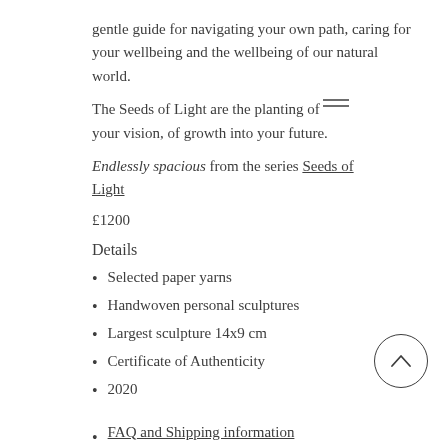gentle guide for navigating your own path, caring for your wellbeing and the wellbeing of our natural world.
The Seeds of Light are the planting of your vision, of growth into your future.
Endlessly spacious from the series Seeds of Light
£1200
Details
Selected paper yarns
Handwoven personal sculptures
Largest sculpture 14x9 cm
Certificate of Authenticity
2020
FAQ and Shipping information
Testimonials